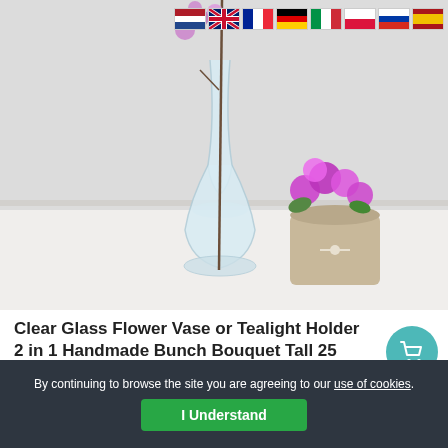[Figure (photo): A clear glass flower vase or tealight holder on a white surface with a floral stem inside. Purple flowers in a pot visible in the background. Country flag icons (Netherlands, UK, France, Germany, Italy, Poland, Russia, Spain) shown in top right corner.]
Clear Glass Flower Vase or Tealight Holder 2 in 1 Handmade Bunch Bouquet Tall 25 cm
£14.00  £7.90
By continuing to browse the site you are agreeing to our use of cookies.
I Understand